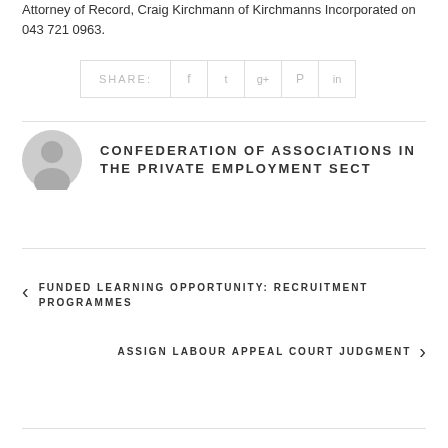Attorney of Record, Craig Kirchmann of Kirchmanns Incorporated on 043 721 0963.
[Figure (other): Social share bar with SHARE label and icons for Facebook, Twitter, Google+, Pinterest, LinkedIn]
[Figure (other): Author avatar: grey silhouette person icon in a circle]
CONFEDERATION OF ASSOCIATIONS IN THE PRIVATE EMPLOYMENT SECT
< FUNDED LEARNING OPPORTUNITY: RECRUITMENT PROGRAMMES
ASSIGN LABOUR APPEAL COURT JUDGMENT >